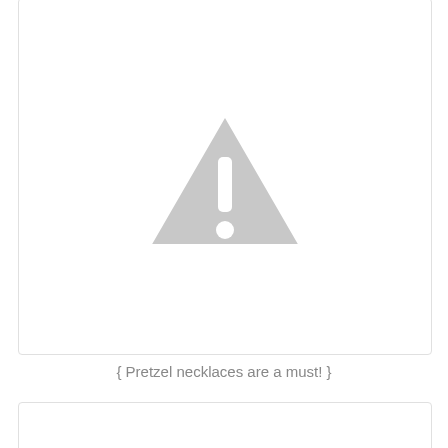[Figure (illustration): A gray warning triangle icon with exclamation mark, placeholder image box, partially visible at top]
{ Pretzel necklaces are a must! }
[Figure (illustration): A gray warning triangle icon with exclamation mark, placeholder image box, partially visible at bottom]